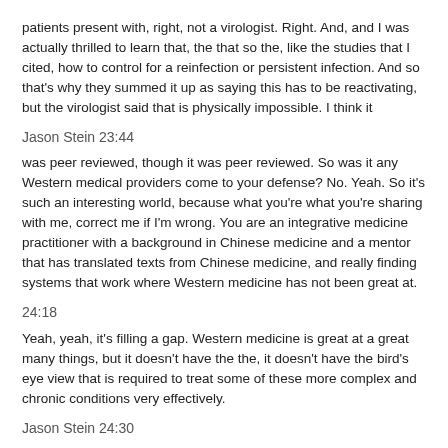patients present with, right, not a virologist.  Right. And, and  I was actually thrilled to learn that, the that so the, like the studies that  I cited, how to control for a reinfection or persistent infection. And so that's why they summed it up as saying this has to be reactivating, but the virologist said that is physically impossible.  I think it
Jason Stein 23:44
was peer reviewed, though it was peer reviewed. So was it any Western medical providers come to your defense?  No. Yeah. So it's such an interesting world, because what you're what you're sharing with me, correct me if  I'm wrong. You are an integrative medicine practitioner with a background in Chinese medicine and a mentor that has translated texts from Chinese medicine, and really finding systems that work where Western medicine has not been great at.
24:18
Yeah, yeah, it's filling a gap. Western medicine is great at a great many things, but it doesn't have the the, it doesn't have the bird's eye view that is required to treat some of these more complex and chronic conditions very effectively.
Jason Stein 24:30